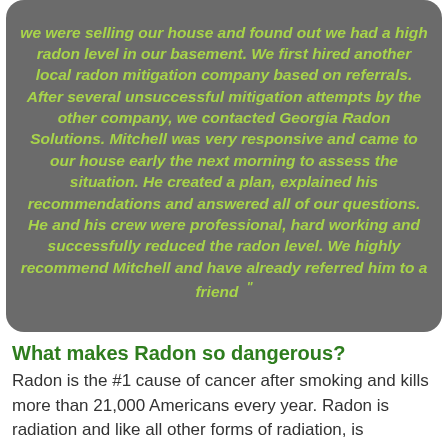we were selling our house and found out we had a high radon level in our basement. We first hired another local radon mitigation company based on referrals. After several unsuccessful mitigation attempts by the other company, we contacted Georgia Radon Solutions. Mitchell was very responsive and came to our house early the next morning to assess the situation. He created a plan, explained his recommendations and answered all of our questions. He and his crew were professional, hard working and successfully reduced the radon level. We highly recommend Mitchell and have already referred him to a friend "
What makes Radon so dangerous?
Radon is the #1 cause of cancer after smoking and kills more than 21,000 Americans every year. Radon is radiation and like all other forms of radiation, is completely invisible. Radon can cause extensive cell damage and creates the mutated cells that turn into cancer. Many families are living in homes with radiation levels that exceed the EPA's allowable limits for